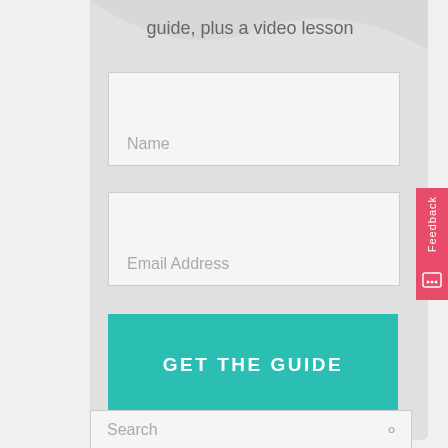guide, plus a video lesson
[Figure (screenshot): Name input field placeholder]
[Figure (screenshot): Email Address input field placeholder]
[Figure (screenshot): GET THE GUIDE button in teal/green color]
[Figure (screenshot): Search input field at bottom]
[Figure (other): Feedback tab on right side with vertical text and icon]